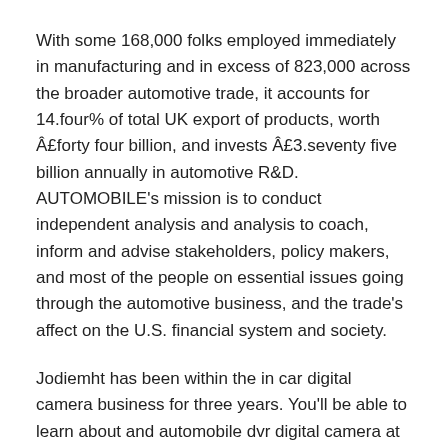With some 168,000 folks employed immediately in manufacturing and in excess of 823,000 across the broader automotive trade, it accounts for 14.four% of total UK export of products, worth Â£forty four billion, and invests Â£3.seventy five billion annually in automotive R&D. AUTOMOBILE's mission is to conduct independent analysis and analysis to coach, inform and advise stakeholders, policy makers, and most of the people on essential issues going through the automotive business, and the trade's affect on the U.S. financial system and society.
Jodiemht has been within the in car digital camera business for three years. You'll be able to learn about and automobile dvr digital camera at her firm web site. Decode the longer term by discovering our Automotive Industry Answer. Request a free no-obligation run-by of our distinctive and powerful instruments. Our capabilities